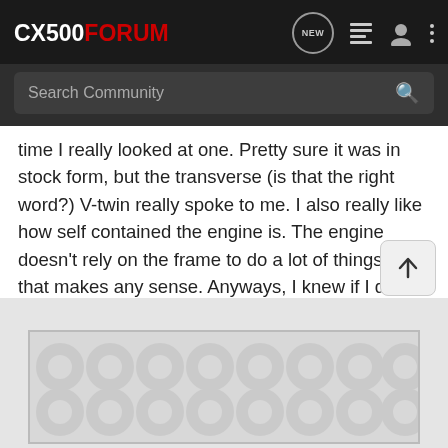CX500FORUM
Search Community
time I really looked at one. Pretty sure it was in stock form, but the transverse (is that the right word?) V-twin really spoke to me. I also really like how self contained the engine is. The engine doesn't rely on the frame to do a lot of things, if that makes any sense. Anyways, I knew if I did one of these it would be a CX500, not realizing that there is actually a huge following for them.

As it just so happens there is one on Facebook Market Place. Here is the ad:
[Figure (screenshot): Advertisement image placeholder with dot pattern background]